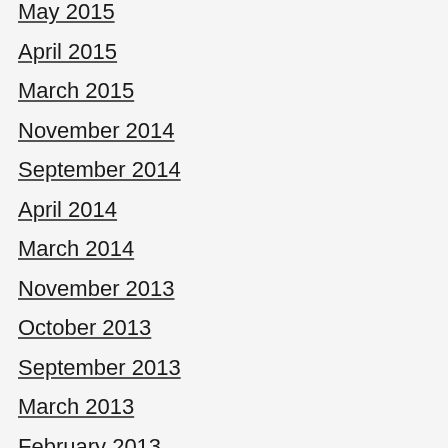May 2015
April 2015
March 2015
November 2014
September 2014
April 2014
March 2014
November 2013
October 2013
September 2013
March 2013
February 2013
December 2012
September 2012